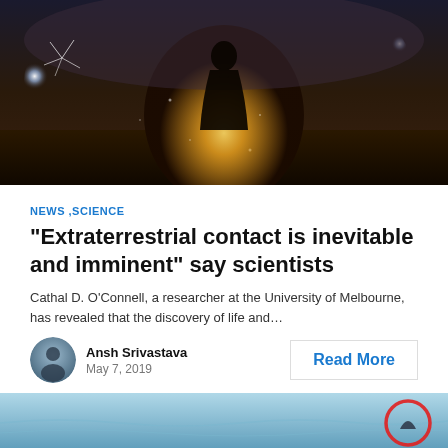[Figure (photo): Dark dramatic scene showing a silhouetted humanoid figure standing in a glowing bright light, reminiscent of an alien or sci-fi scene, with fireworks or flares in the background against a dark sky.]
NEWS, SCIENCE
“Extraterrestrial contact is inevitable and imminent” say scientists
Cathal D. O’Connell, a researcher at the University of Melbourne, has revealed that the discovery of life and…
Ansh Srivastava
May 7, 2019
Read More
[Figure (photo): Partial view of an ocean or body of water scene with a red circle highlighting something in the water, possibly a fin or object.]